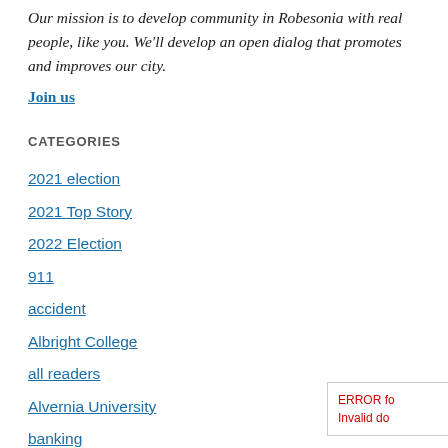Our mission is to develop community in Robesonia with real people, like you. We'll develop an open dialog that promotes and improves our city.
Join us
CATEGORIES
2021 election
2021 Top Story
2022 Election
911
accident
Albright College
all readers
Alvernia University
banking
Berks Country